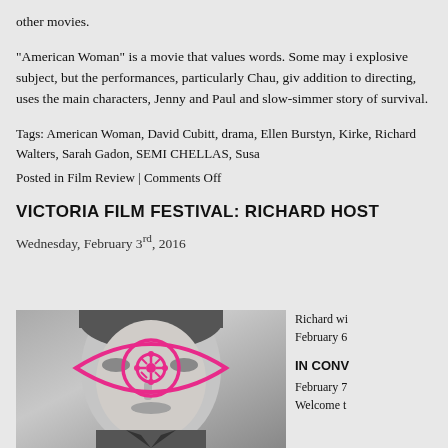other movies.
“American Woman” is a movie that values words. Some may i explosive subject, but the performances, particularly Chau, giv addition to directing, uses the main characters, Jenny and Paul and slow-simmer story of survival.
Tags: American Woman, David Cubitt, drama, Ellen Burstyn, Kirke, Richard Walters, Sarah Gadon, SEMI CHELLAS, Susa
Posted in Film Review | Comments Off
VICTORIA FILM FESTIVAL: RICHARD HOST
Wednesday, February 3rd, 2016
[Figure (photo): Black and white portrait photo of a man with a magenta/pink graphic eye design overlay on his face, resembling a film reel inside an eye shape. Used for Victoria Film Festival event.]
Richard wi February 6

IN CONV

February 7 Welcome t